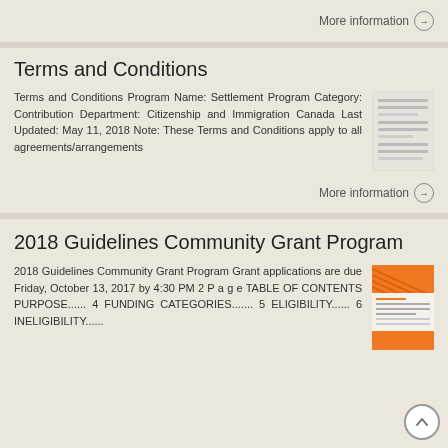More information →
Terms and Conditions
Terms and Conditions Program Name: Settlement Program Category: Contribution Department: Citizenship and Immigration Canada Last Updated: May 11, 2018 Note: These Terms and Conditions apply to all agreements/arrangements
More information →
2018 Guidelines Community Grant Program
2018 Guidelines Community Grant Program Grant applications are due Friday, October 13, 2017 by 4:30 PM 2 P a g e TABLE OF CONTENTS PURPOSE...... 4 FUNDING CATEGORIES....... 5 ELIGIBILITY...... 6 INELIGIBILITY......